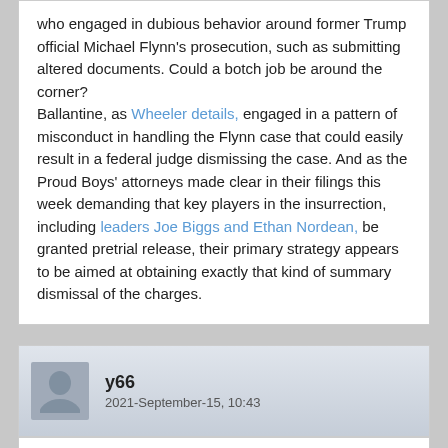who engaged in dubious behavior around former Trump official Michael Flynn's prosecution, such as submitting altered documents. Could a botch job be around the corner?

Ballantine, as Wheeler details, engaged in a pattern of misconduct in handling the Flynn case that could easily result in a federal judge dismissing the case. And as the Proud Boys' attorneys made clear in their filings this week demanding that key players in the insurrection, including leaders Joe Biggs and Ethan Nordean, be granted pretrial release, their primary strategy appears to be aimed at obtaining exactly that kind of summary dismissal of the charges.
y66
2021-September-15, 10:43
Donald Trump, on January 6 said:
I don't want to be your friend anymore if you don't do this